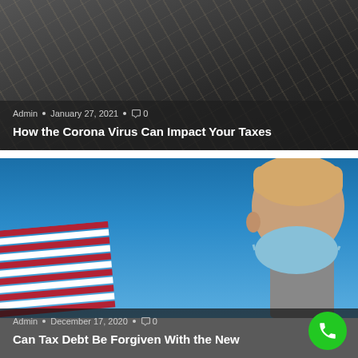Admin • January 27, 2021 • 0
How the Corona Virus Can Impact Your Taxes
[Figure (photo): Dark blurred background showing documents/papers, article card image]
[Figure (photo): Person wearing a blue face mask with an American flag in the background against a blue sky]
Admin • December 17, 2020 • 0
Can Tax Debt Be Forgiven With the New